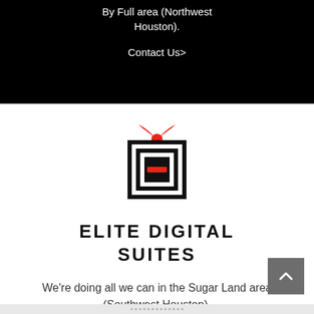By Full area (Northwest Houston).
Contact Us>
[Figure (logo): Elite Digital Suites logo: black square gift box with nested white and black squares, red ribbon on top, red rectangle in center]
ELITE DIGITAL SUITES
We're doing all we can in the Sugar Land area (Southwest Houston).